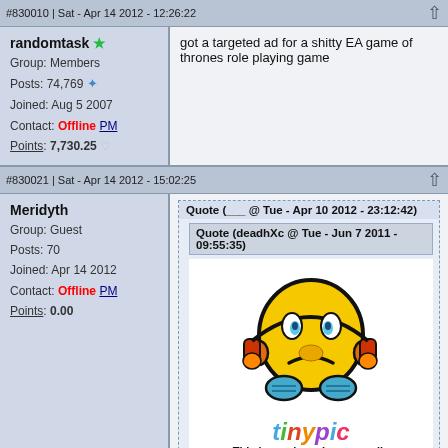#830010 | Sat - Apr 14 2012 - 12:26:22
randomtask
Group: Members
Posts: 74,769
Joined: Aug 5 2007
Contact: Offline PM
Points: 7,730.25
got a targeted ad for a shitty EA game of thrones role playing game
#830021 | Sat - Apr 14 2012 - 15:02:25
Meridyth
Group: Guest
Posts: 70
Joined: Apr 14 2012
Contact: Offline PM
Points: 0.00
Quote (___ @ Tue - Apr 10 2012 - 23:12:42)
Quote (deadhXc @ Tue - Jun 7 2011 - 09:55:35)
[Figure (illustration): Tinypic sad face emoji with headphones, colorful tinypic logo, and 'This image is no longer available' message]